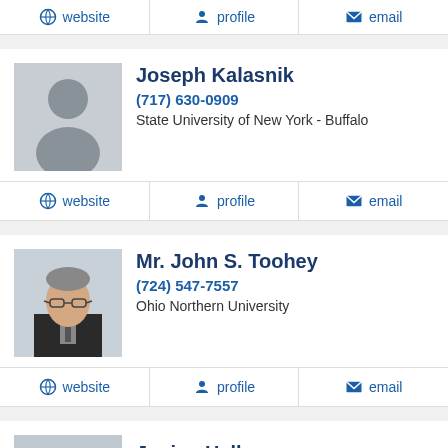website | profile | email (top bar)
Joseph Kalasnik, (717) 630-0909, State University of New York - Buffalo
website | profile | email
Mr. John S. Toohey, (724) 547-7557, Ohio Northern University
website | profile | email
Janine Hallman